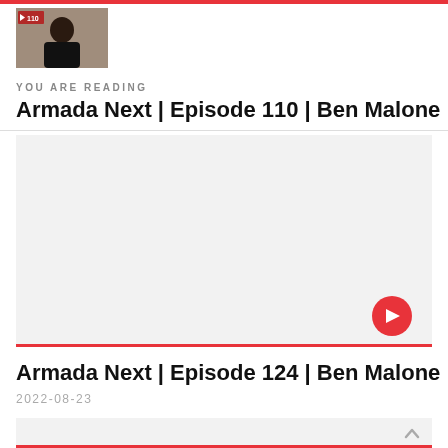[Figure (photo): Thumbnail image of a person in a dark jacket, episode 110 badge overlay]
YOU ARE READING
Armada Next | Episode 110 | Ben Malone
[Figure (other): Video player area with red play button, episode 124]
Armada Next  | Episode 124 | Ben Malone
2022-08-23
[Figure (other): Second video player area, partial view]